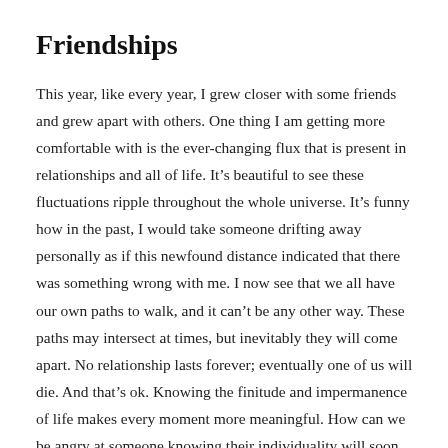Friendships
This year, like every year, I grew closer with some friends and grew apart with others. One thing I am getting more comfortable with is the ever-changing flux that is present in relationships and all of life. It’s beautiful to see these fluctuations ripple throughout the whole universe. It’s funny how in the past, I would take someone drifting away personally as if this newfound distance indicated that there was something wrong with me. I now see that we all have our own paths to walk, and it can’t be any other way. These paths may intersect at times, but inevitably they will come apart. No relationship lasts forever; eventually one of us will die. And that’s ok. Knowing the finitude and impermanence of life makes every moment more meaningful. How can we be angry at someone knowing their individuality will soon cease to be?